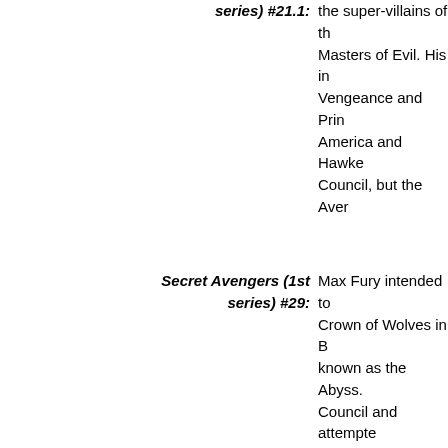Secret Avengers (1st series) #21.1: the super-villains of the Masters of Evil. His in Vengeance and Princ America and Hawkey Council, but the Aver
Secret Avengers (1st series) #29: Max Fury intended to Crown of Wolves in B known as the Abyss. Council and attempte by Max Fury and his Black Talon, the Brot Lascivious, Griffin, M Scarecrow. In fact, th Bagalia, like the U-Fo whom operated out o center of Bagalia City to check on John Ste of Crime, and learned Hole. Flash Thompso hopefully intimidate T challenge to a slugfe: